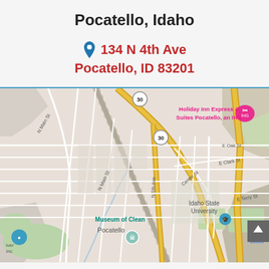Pocatello, Idaho
134 N 4th Ave
Pocatello, ID 83201
[Figure (map): Google Maps view of Pocatello, Idaho showing streets including N Main St, N 5th Ave, Center St, E Oak St, E Clark St, E Terry St, highway 30 and 15, and landmarks including Holiday Inn Express & Suites Pocatello an IHG, Idaho State University, Museum of Clean, Pocatello, and river/Inc location pin.]